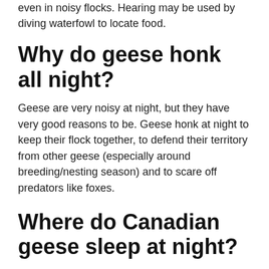even in noisy flocks. Hearing may be used by diving waterfowl to locate food.
Why do geese honk all night?
Geese are very noisy at night, but they have very good reasons to be. Geese honk at night to keep their flock together, to defend their territory from other geese (especially around breeding/nesting season) and to scare off predators like foxes.
Where do Canadian geese sleep at night?
Most of the time, geese and ducks sleep at night right on the water. Eagles and hawks